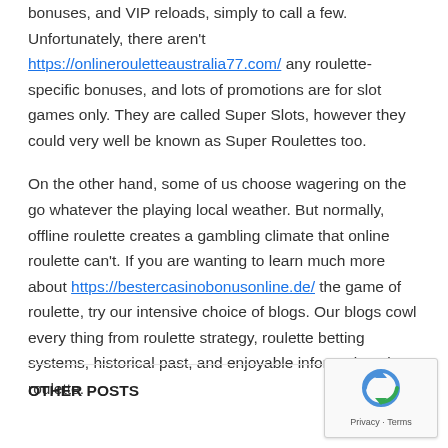bonuses, and VIP reloads, simply to call a few. Unfortunately, there aren't https://onlinerouletteaustralia77.com/ any roulette-specific bonuses, and lots of promotions are for slot games only. They are called Super Slots, however they could very well be known as Super Roulettes too.
On the other hand, some of us choose wagering on the go whatever the playing local weather. But normally, offline roulette creates a gambling climate that online roulette can't. If you are wanting to learn much more about https://bestercasinobonusonline.de/ the game of roulette, try our intensive choice of blogs. Our blogs cowl every thing from roulette strategy, roulette betting systems, historical past, and enjoyable information about roulette.
OTHER POSTS